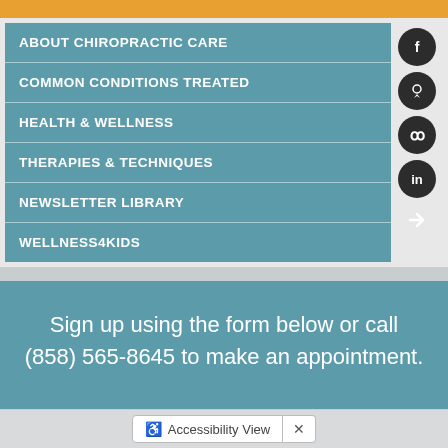ABOUT CHIROPRACTIC CARE
COMMON CONDITIONS TREATED
HEALTH & WELLNESS
THERAPIES & TECHNIQUES
NEWSLETTER LIBRARY
WELLNESS4KIDS
Sign up using the form below or call (858) 565-8645 to make an appointment.
Accessibility View